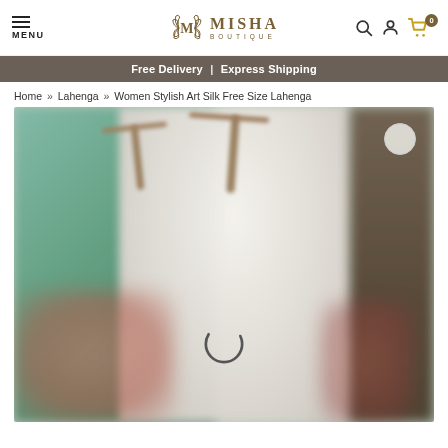MENU | MISHA BOUTIQUE | Search | Account | Cart 0
Free Delivery | Express Shipping
Home » Lahenga » Women Stylish Art Silk Free Size Lahenga
[Figure (photo): Blurred product photo showing women's stylish art silk lahenga on hangers with a green background. A loading spinner (circular arc) is visible at the bottom center of the image.]